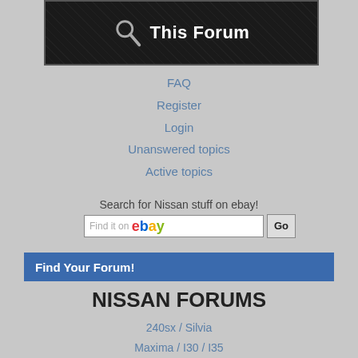[Figure (screenshot): Dark forum search banner with magnifier icon and 'This Forum' text]
FAQ
Register
Login
Unanswered topics
Active topics
Search for Nissan stuff on ebay!
[Figure (screenshot): eBay search bar with 'Find it on eBay' input and Go button]
Find Your Forum!
NISSAN FORUMS
240sx / Silvia
Maxima / I30 / I35
350Z / 370z
Altima / Bluebird
Sentra
Versa
GTR / Skyline
Juke